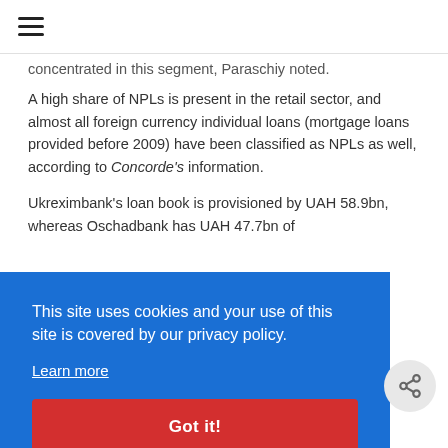☰
concentrated in this segment, Paraschiy noted.
A high share of NPLs is present in the retail sector, and almost all foreign currency individual loans (mortgage loans provided before 2009) have been classified as NPLs as well, according to Concorde's information.
Ukreximbank's loan book is provisioned by UAH 58.9bn, whereas Oschadbank has UAH 47.7bn of
[Figure (screenshot): Cookie consent banner with blue background reading 'This site uses cookies and your use of this site is covered by our privacy policy.' with a 'Learn more' link and a red 'Got it!' button]
against him and his partner. Seriously, Doge, also been
figures him and his partner. Somehow Doge, also been the London High Court.